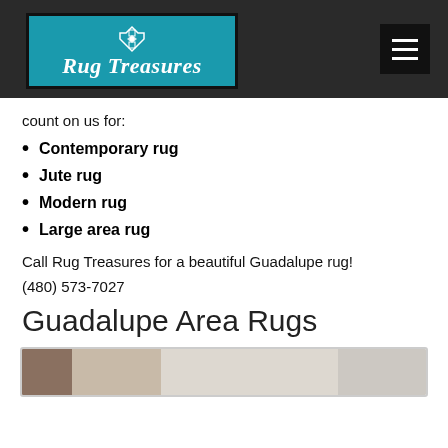[Figure (logo): Rug Treasures logo on teal background with decorative diamond pattern icon]
count on us for:
Contemporary rug
Jute rug
Modern rug
Large area rug
Call Rug Treasures for a beautiful Guadalupe rug!
(480) 573-7027
Guadalupe Area Rugs
[Figure (photo): Partial photo of area rugs in beige/tan tones at the bottom of the page]